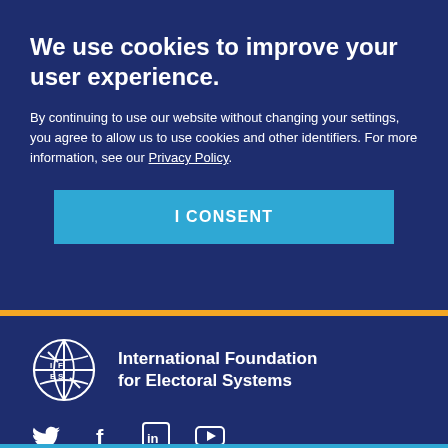We use cookies to improve your user experience.
By continuing to use our website without changing your settings, you agree to allow us to use cookies and other identifiers. For more information, see our Privacy Policy.
I CONSENT
[Figure (logo): IFES globe logo with letters I, F, E, S and organization name: International Foundation for Electoral Systems]
[Figure (infographic): Social media icons: Twitter (bird), Facebook (f), LinkedIn (in), YouTube (play button)]